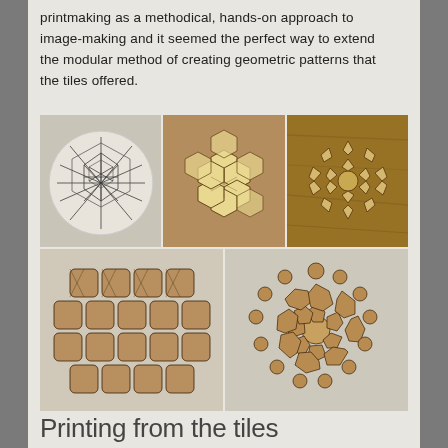printmaking as a methodical, hands-on approach to image-making and it seemed the perfect way to extend the modular method of creating geometric patterns that the tiles offered.
[Figure (photo): Five photographs of geometric tile arrangements: top row shows three arrangements — a circular arrangement with geometric patterns drawn in black ink on white, a star/hexagonal arrangement of cream-colored laser-cut tiles on a wooden surface, and a circular snowflake-like arrangement of small wooden tiles on a wood-grain surface. Bottom row shows two arrangements — a rectangular cluster of brown laser-cut geometric tiles with wavy edges, and a large circular arrangement of brown geometric tiles forming a mandala/snowflake pattern.]
Printing from the tiles